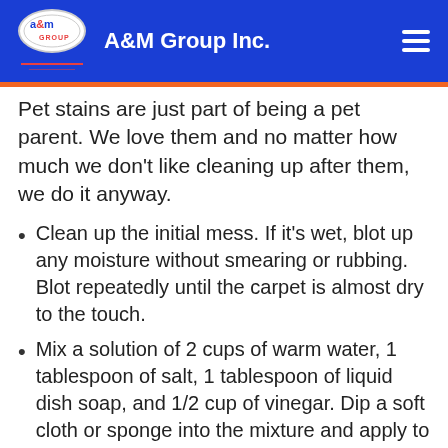A&M Group Inc.
Pet stains are just part of being a pet parent. We love them and no matter how much we don't like cleaning up after them, we do it anyway.
Clean up the initial mess. If it's wet, blot up any moisture without smearing or rubbing. Blot repeatedly until the carpet is almost dry to the touch.
Mix a solution of 2 cups of warm water, 1 tablespoon of salt, 1 tablespoon of liquid dish soap, and 1/2 cup of vinegar. Dip a soft cloth or sponge into the mixture and apply to the soiled area. Blot lightly. You